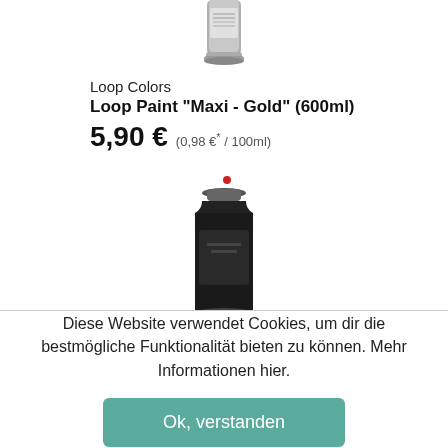[Figure (photo): Top of a spray paint can (Loop Colors brand), showing the top portion/cap area, partially cropped at top of page]
Loop Colors
Loop Paint "Maxi - Gold" (600ml)
5,90 € (0,98 €* / 100ml)
[Figure (photo): A dark/black spray paint can (Loop Colors) shown from a slightly elevated angle, with a small red nozzle cap on top]
Diese Website verwendet Cookies, um dir die bestmögliche Funktionalität bieten zu können. Mehr Informationen hier.
Ok, verstanden